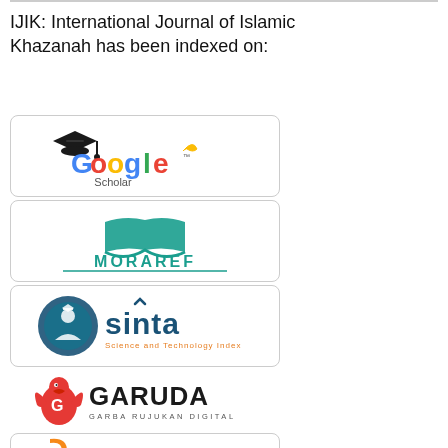IJIK: International Journal of Islamic Khazanah has been indexed on:
[Figure (logo): Google Scholar logo with graduation cap icon]
[Figure (logo): MORAREF logo with open book / checkmark icon in teal]
[Figure (logo): SINTA Science and Technology Index logo with circular emblem in dark teal]
[Figure (logo): GARUDA Garba Rujukan Digital logo with red bird icon]
[Figure (logo): DOAJ Directory of Open Access Journals logo (partially visible)]